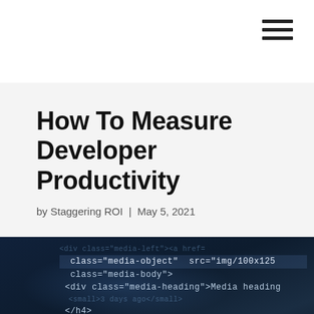How To Measure Developer Productivity
by Staggering ROI | May 5, 2021
[Figure (photo): Close-up photo of hands typing on a keyboard with dark blue code editor text visible on screen in the background, with orange/warm lighting glow from lower left.]